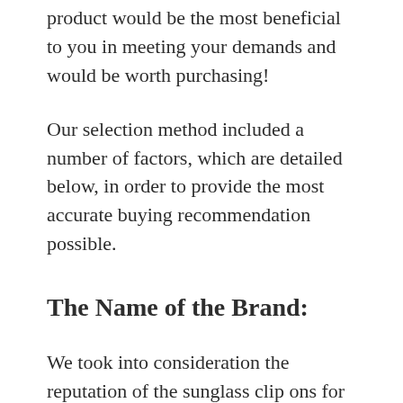product would be the most beneficial to you in meeting your demands and would be worth purchasing!
Our selection method included a number of factors, which are detailed below, in order to provide the most accurate buying recommendation possible.
The Name of the Brand:
We took into consideration the reputation of the sunglass clip ons for plastic frames, company while making our selection. When evaluating a company, we looked at how many good reviews they had and whether or